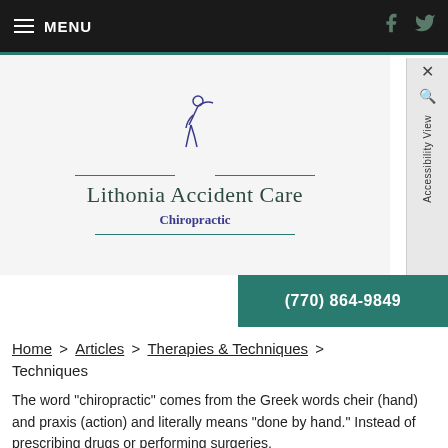MENU
[Figure (logo): Lithonia Accident Care Chiropractic logo with a stylized figure and teal lines]
(770) 864-9849
Home > Articles > Therapies & Techniques > Techniques
The word "chiropractic" comes from the Greek words cheir (hand) and praxis (action) and literally means "done by hand." Instead of prescribing drugs or performing surgeries,